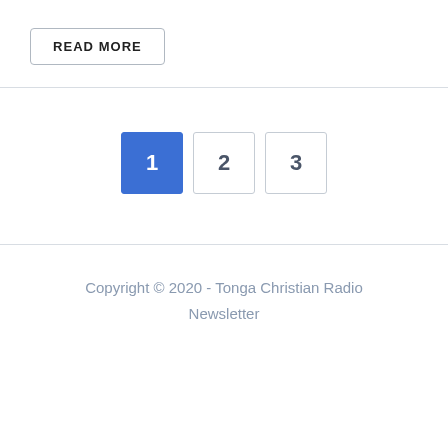READ MORE
1  2  3
Copyright © 2020 -  Tonga Christian Radio Newsletter